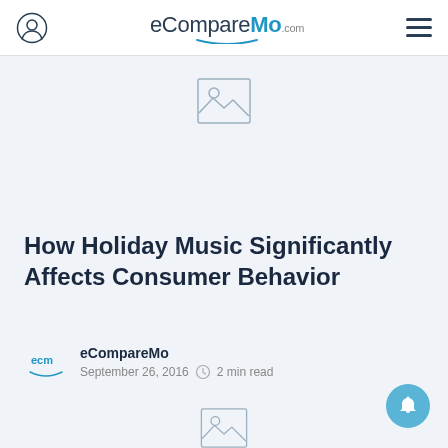eCompareMo.com
[Figure (illustration): Placeholder image icon with mountain/landscape and sun, inside a rectangle border]
How Holiday Music Significantly Affects Consumer Behavior
eCompareMo
September 26, 2016  2 min read
[Figure (illustration): Second placeholder image icon at bottom of page]